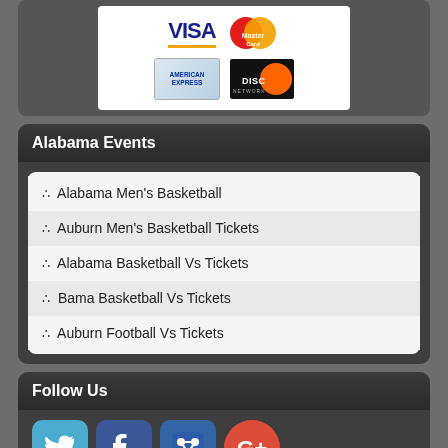[Figure (infographic): Payment methods: VISA, MasterCard, American Express, Discover]
Alabama Events
Alabama Men's Basketball
Auburn Men's Basketball Tickets
Alabama Basketball Vs Tickets
Bama Basketball Vs Tickets
Auburn Football Vs Tickets
Follow Us
[Figure (infographic): Social media icons: Twitter, Facebook, Groupon/social app, Google+]
Our Guarantee